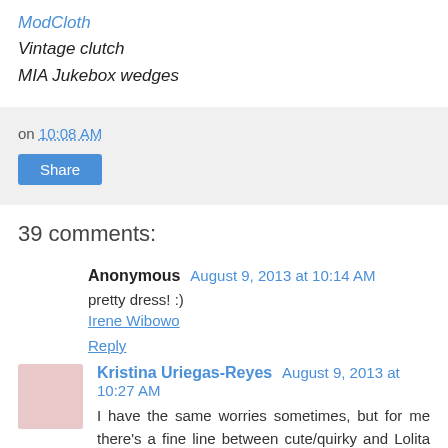Trollied Dolly dress via ModCloth
Vintage clutch
MIA Jukebox wedges
on 10:08 AM
Share
39 comments:
Anonymous August 9, 2013 at 10:14 AM
pretty dress! :)
Irene Wibowo
Reply
Kristina Uriegas-Reyes August 9, 2013 at 10:27 AM
I have the same worries sometimes, but for me there's a fine line between cute/quirky and Lolita costume. There's